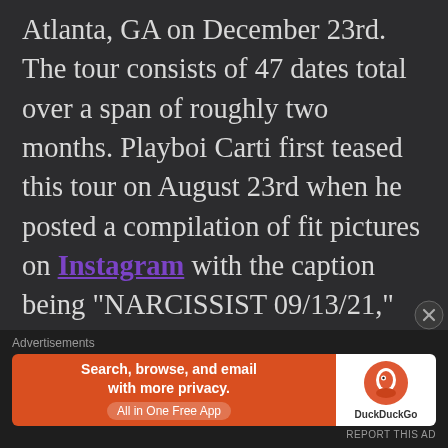Atlanta, GA on December 23rd. The tour consists of 47 dates total over a span of roughly two months. Playboi Carti first teased this tour on August 23rd when he posted a compilation of fit pictures on Instagram with the caption being "NARCISSIST 09/13/21," which fans speculated could either be a single,
Advertisements
[Figure (other): DuckDuckGo advertisement banner: orange background with text 'Search, browse, and email with more privacy. All in One Free App' and DuckDuckGo logo on white panel.]